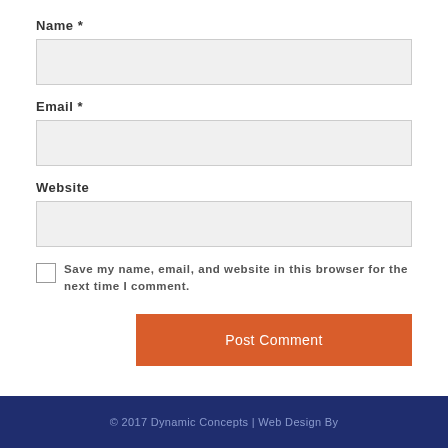Name *
Email *
Website
Save my name, email, and website in this browser for the next time I comment.
Post Comment
© 2017 Dynamic Concepts | Web Design By